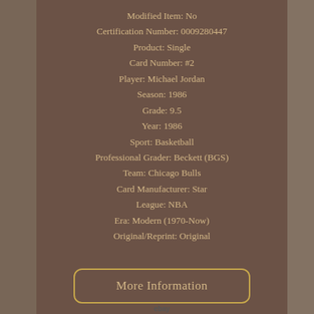Modified Item: No
Certification Number: 0009280447
Product: Single
Card Number: #2
Player: Michael Jordan
Season: 1986
Grade: 9.5
Year: 1986
Sport: Basketball
Professional Grader: Beckett (BGS)
Team: Chicago Bulls
Card Manufacturer: Star
League: NBA
Era: Modern (1970-Now)
Original/Reprint: Original
[Figure (other): Button/link styled element reading 'More Information' with eBay label below, gold border rounded rectangle]